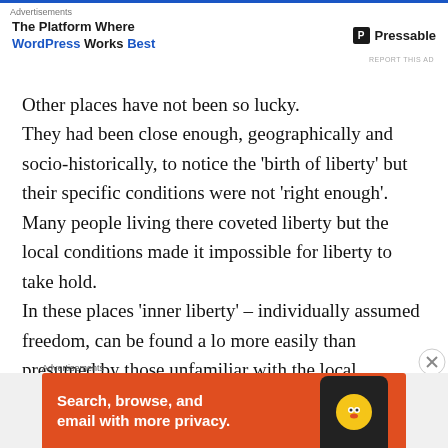Advertisements
[Figure (other): Advertisement banner for Pressable - 'The Platform Where WordPress Works Best']
Other places have not been so lucky.
They had been close enough, geographically and socio-historically, to notice the 'birth of liberty' but their specific conditions were not 'right enough'. Many people living there coveted liberty but the local conditions made it impossible for liberty to take hold.
In these places 'inner liberty' – individually assumed freedom, can be found a lo more easily than presumed by those unfamiliar with the local realities.
Yet other places had it even worse.
Advertisements
[Figure (other): Advertisement banner for DuckDuckGo - 'Search, browse, and email with more privacy.']